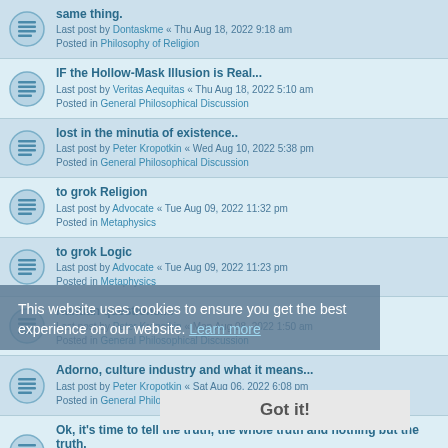same thing. Last post by Dontaskme « Thu Aug 18, 2022 9:18 am Posted in Philosophy of Religion
IF the Hollow-Mask Illusion is Real... Last post by Veritas Aequitas « Thu Aug 18, 2022 5:10 am Posted in General Philosophical Discussion
lost in the minutia of existence.. Last post by Peter Kropotkin « Wed Aug 10, 2022 5:38 pm Posted in General Philosophical Discussion
to grok Religion Last post by Advocate « Tue Aug 09, 2022 11:32 pm Posted in Metaphysics
to grok Logic Last post by Advocate « Tue Aug 09, 2022 11:23 pm Posted in Metaphysics
Kantian questions.... Last post by Peter Kropotkin « Mon Aug 08, 2022 1:50 am Posted in General Philosophical Discussion
Adorno, culture industry and what it means... Last post by Peter Kropotkin « Sat Aug 06, 2022 6:08 pm Posted in General Philosophical Discussion
Ok, it's time to tell the truth, the whole truth and nothing but the truth. Last post by Dontaskme « Sat Aug 06, 2022 9:16 am Posted in Philosophy of Religion
democracy and political theory...
This website uses cookies to ensure you get the best experience on our website. Learn more
Got it!